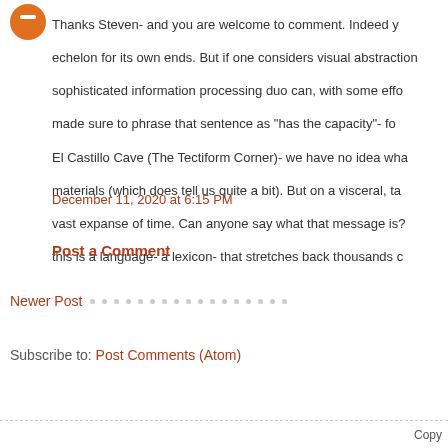Thanks Steven- and you are welcome to comment. Indeed your echelon for its own ends. But if one considers visual abstraction sophisticated information processing duo can, with some effort, made sure to phrase that sentence as "has the capacity"- for El Castillo Cave (The Tectiform Corner)- we have no idea wha materials (which does tell us quite a bit). But on a visceral, ta vast expanse of time. Can anyone say what that message is? this is a language- a lexicon- that stretches back thousands c
December 11, 2020 at 6:15 PM
Post a Comment
Newer Post
Subscribe to: Post Comments (Atom)
Copy